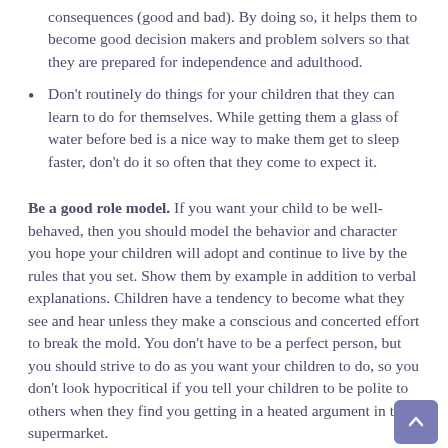consequences (good and bad). By doing so, it helps them to become good decision makers and problem solvers so that they are prepared for independence and adulthood.
Don't routinely do things for your children that they can learn to do for themselves. While getting them a glass of water before bed is a nice way to make them get to sleep faster, don't do it so often that they come to expect it.
Be a good role model. If you want your child to be well-behaved, then you should model the behavior and character you hope your children will adopt and continue to live by the rules that you set. Show them by example in addition to verbal explanations. Children have a tendency to become what they see and hear unless they make a conscious and concerted effort to break the mold. You don't have to be a perfect person, but you should strive to do as you want your children to do, so you don't look hypocritical if you tell your children to be polite to others when they find you getting in a heated argument in the supermarket.
It's perfectly okay to make mistakes, but you should